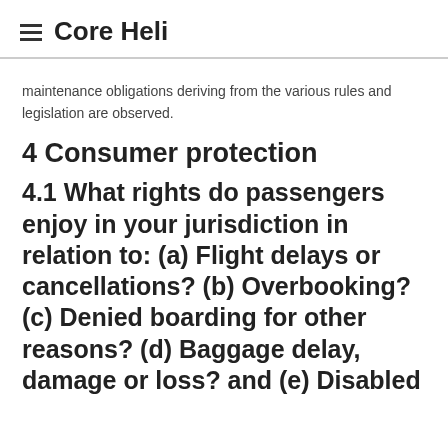Core Heli
maintenance obligations deriving from the various rules and legislation are observed.
4 Consumer protection
4.1 What rights do passengers enjoy in your jurisdiction in relation to: (a) Flight delays or cancellations? (b) Overbooking? (c) Denied boarding for other reasons? (d) Baggage delay, damage or loss? and (e) Disabled